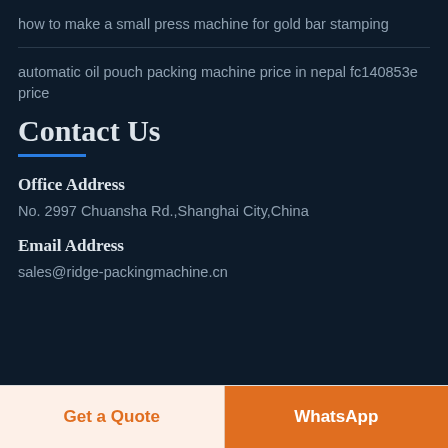how to make a small press machine for gold bar stamping
automatic oil pouch packing machine price in nepal fc140853e price
Contact Us
Office Address
No. 2997 Chuansha Rd.,Shanghai City,China
Email Address
sales@ridge-packingmachine.cn
Get a Quote
WhatsApp